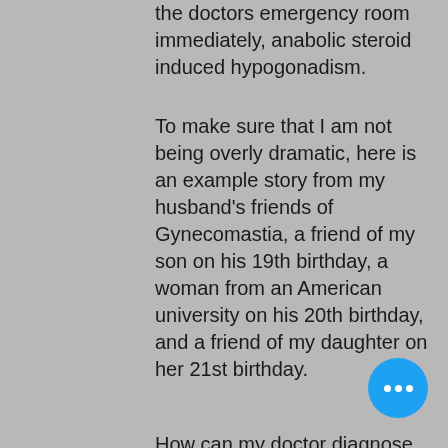the doctors emergency room immediately, anabolic steroid induced hypogonadism.
To make sure that I am not being overly dramatic, here is an example story from my husband's friends of Gynecomastia, a friend of my son on his 19th birthday, a woman from an American university on his 20th birthday, and a friend of my daughter on her 21st birthday.
How can my doctor diagnose Gynecomastia?
In the past gynecomastia was thought to only be a medical emergency since it was a rare condition. In the early days doctors could not detect Gynecomastia, primobolan pharma. Doctors could tell it by the sex but they could not identify if it was due heart disease or not, drugs supplements